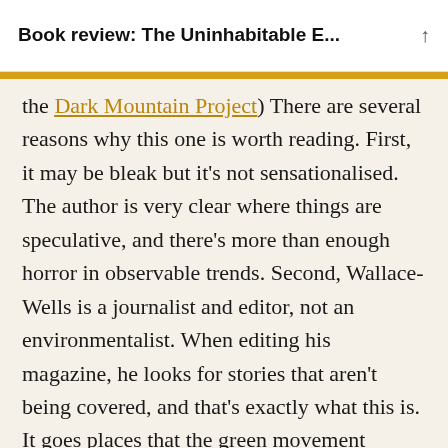Book review: The Uninhabitable E...
the Dark Mountain Project) There are several reasons why this one is worth reading. First, it may be bleak but it's not sensationalised. The author is very clear where things are speculative, and there's more than enough horror in observable trends. Second, Wallace-Wells is a journalist and editor, not an environmentalist. When editing his magazine, he looks for stories that aren't being covered, and that's exactly what this is. It goes places that the green movement doesn't go to, and it's not a piece of fearmongering environmentalism. It's also exhaustively researched and if anything looks contentious, there are detailed notes at the back that put